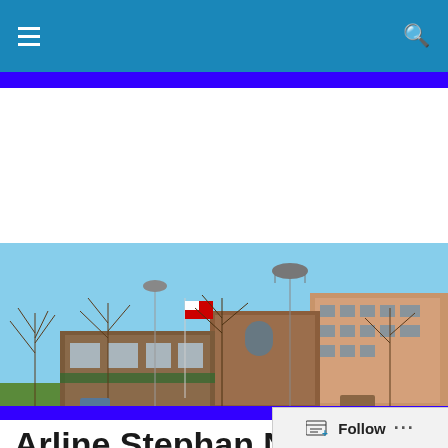Navigation bar with hamburger menu and search icon
[Figure (photo): A park scene with bare winter trees in the foreground, green lawn, and brick commercial buildings and a taller office building in the background under a clear blue sky. Flags and street lights are visible.]
Arline Stephan Named Vice President Of Development, External Relations At
[Figure (other): Follow button widget at bottom right of the page]